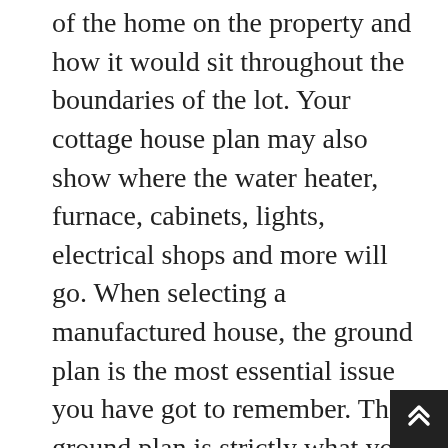of the home on the property and how it would sit throughout the boundaries of the lot. Your cottage house plan may also show where the water heater, furnace, cabinets, lights, electrical shops and more will go. When selecting a manufactured house, the ground plan is the most essential issue you have got to remember. The ground plan is strictly what you assume it is. The positioning plan also contains the situation of utility providers, easements, driveways and walkways. There are the positioning plan, the ground plan, and an elevation. There are several different sections that make up your house plans. With a quick overview of the objects that make up your plans, you will be studying them in no time. It's best to in all probability make plenty of room on a big table so you do not feel cramped whereas making an attempt to learn them. The first thing you must do is take your ranch type home plans and unfold them out the pla…